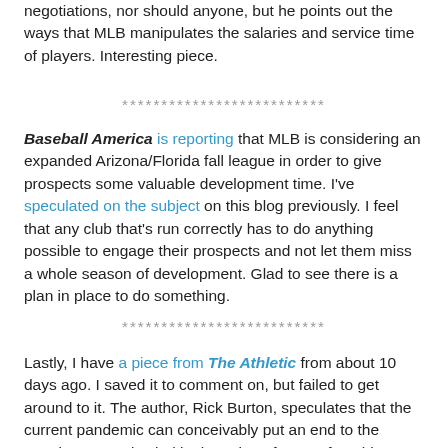negotiations, nor should anyone, but he points out the ways that MLB manipulates the salaries and service time of players. Interesting piece.
**************************
Baseball America is reporting that MLB is considering an expanded Arizona/Florida fall league in order to give prospects some valuable development time. I've speculated on the subject on this blog previously. I feel that any club that's run correctly has to do anything possible to engage their prospects and not let them miss a whole season of development. Glad to see there is a plan in place to do something.
**************************
Lastly, I have a piece from The Athletic from about 10 days ago. I saved it to comment on, but failed to get around to it. The author, Rick Burton, speculates that the current pandemic can conceivably put an end to the ongoing upward spiral in the value of sports franchises. It's an interesting